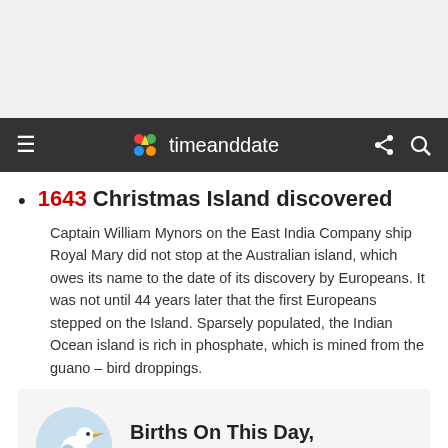[Figure (other): Gray advertisement banner area at top of page]
timeanddate — navigation bar with hamburger menu, logo, share and search icons
1643 Christmas Island discovered
Captain William Mynors on the East India Company ship Royal Mary did not stop at the Australian island, which owes its name to the date of its discovery by Europeans. It was not until 44 years later that the first Europeans stepped on the Island. Sparsely populated, the Indian Ocean island is rich in phosphate, which is mined from the guano – bird droppings.
Births On This Day, December 25